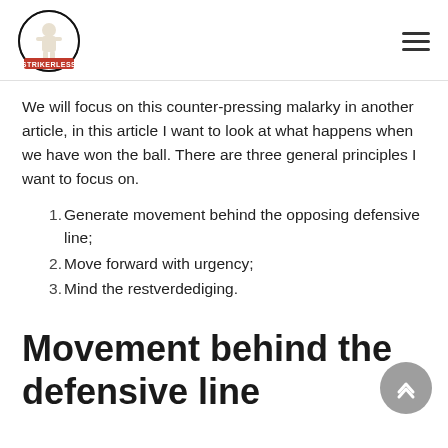Strikerless logo and navigation
We will focus on this counter-pressing malarky in another article, in this article I want to look at what happens when we have won the ball. There are three general principles I want to focus on.
Generate movement behind the opposing defensive line;
Move forward with urgency;
Mind the restverdediging.
Movement behind the defensive line